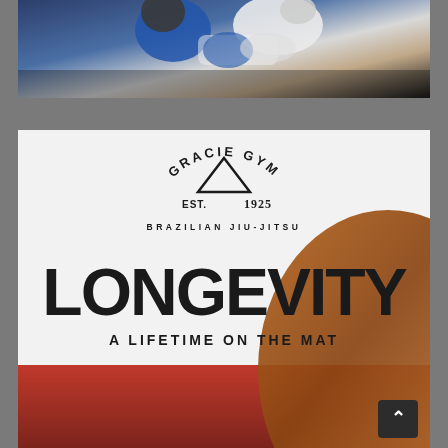[Figure (photo): Two martial artists grappling, one in blue gi and one in white gi, viewed from above during a Brazilian jiu-jitsu match]
[Figure (logo): Gracie Gym Est. 1925 Brazilian Jiu-Jitsu logo with triangle/mountain symbol, above large text LONGEVITY - A LIFETIME ON THE MAT, with red mat and brown texture in background]